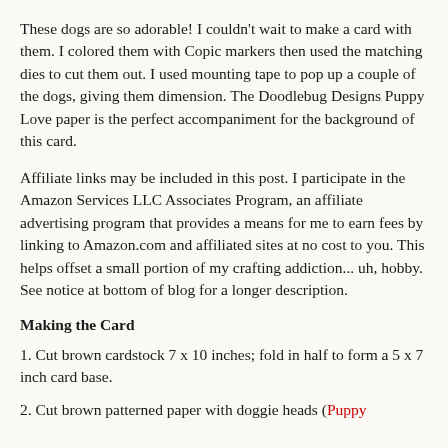These dogs are so adorable! I couldn't wait to make a card with them. I colored them with Copic markers then used the matching dies to cut them out. I used mounting tape to pop up a couple of the dogs, giving them dimension. The Doodlebug Designs Puppy Love paper is the perfect accompaniment for the background of this card.
Affiliate links may be included in this post. I participate in the Amazon Services LLC Associates Program, an affiliate advertising program that provides a means for me to earn fees by linking to Amazon.com and affiliated sites at no cost to you. This helps offset a small portion of my crafting addiction... uh, hobby. See notice at bottom of blog for a longer description.
Making the Card
1. Cut brown cardstock 7 x 10 inches; fold in half to form a 5 x 7 inch card base.
2. Cut brown patterned paper with doggie heads (Puppy